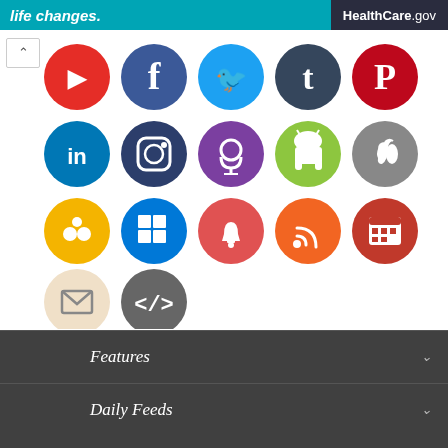life changes. HealthCare.gov
[Figure (screenshot): Grid of social media and app icons: YouTube (red), Facebook (blue), Twitter (light blue), Tumblr (dark blue), Pinterest (red), LinkedIn (blue), Instagram (dark blue), Podcast (purple), Android (green), Apple (gray), Google Assistant (yellow), Windows (blue), Notifications/bell (red), RSS (orange), Calendar (red-orange), Email (beige/tan), Code/embed (gray)]
Features
Daily Feeds